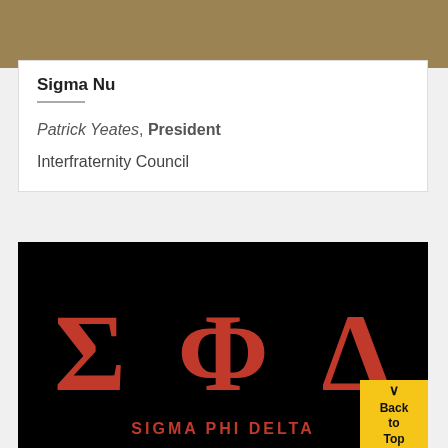Sigma Nu
Patrick Yeates, President
Interfraternity Council
[Figure (logo): Sigma Phi Delta fraternity logo: large red Greek letters Sigma, Phi, Delta on black background with text 'SIGMA PHI DELTA' below]